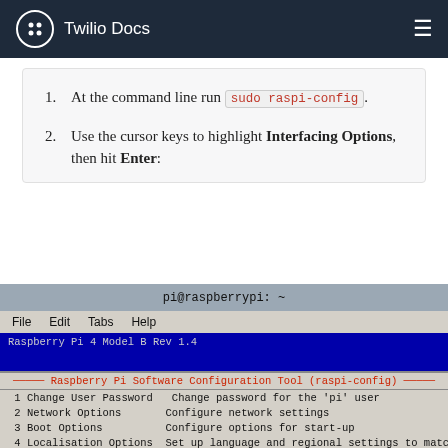Twilio Docs
At the command line run sudo raspi-config.
Use the cursor keys to highlight Interfacing Options, then hit Enter:
[Figure (screenshot): Terminal screenshot showing raspi-config menu with 'Interfacing Options' highlighted in red. The menu lists: 1 Change User Password, 2 Network Options, 3 Boot Options, 4 Localisation Options, 5 Interfacing Options (highlighted), 6 Overclock, 7 Advanced Options, 8 Update, 9 About raspi-config.]